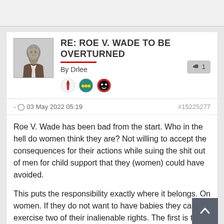RE: ROE V. WADE TO BE OVERTURNED
By Drlee
- 03 May 2022 05:19
#15225277
Roe V. Wade has been bad from the start. Who in the hell do women think they are? Not willing to accept the consequences for their actions while suing the shit out of men for child support that they (women) could have avoided.
This puts the responsibility exactly where it belongs. On women. If they do not want to have babies they can exercise two of their inalienable rights. The first is take birth control pills and the second is to keep their knees together.
Maybe now we will stop talking trash about women's rights and start talking about people having the money, health care and...